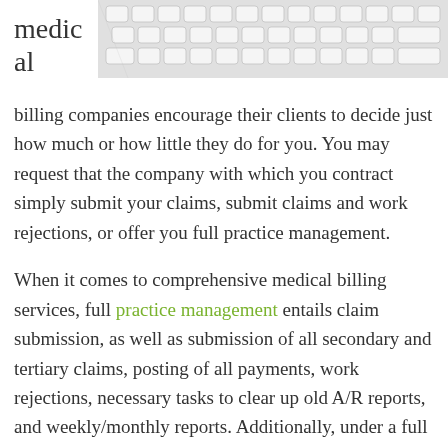[Figure (photo): Close-up photograph of a white computer keyboard, showing keys from above at an angle, light gray/white tones.]
medical billing companies encourage their clients to decide just how much or how little they do for you. You may request that the company with which you contract simply submit your claims, submit claims and work rejections, or offer you full practice management.
When it comes to comprehensive medical billing services, full practice management entails claim submission, as well as submission of all secondary and tertiary claims, posting of all payments, work rejections, necessary tasks to clear up old A/R reports, and weekly/monthly reports. Additionally, under a full practice management contract, medical billing companies send patient statements and handle